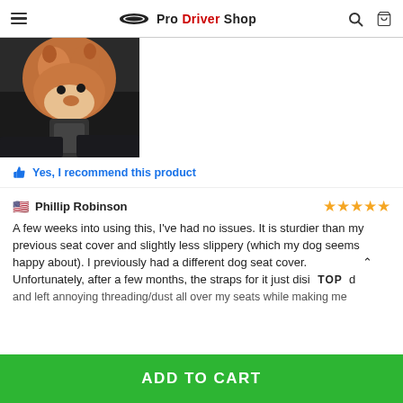Pro Driver Shop
[Figure (photo): A dog (appears to be a Shiba Inu or Akita) sitting in the back seat of a car on a black seat cover, viewed from above/behind.]
Yes, I recommend this product
Phillip Robinson — 5 stars
A few weeks into using this, I've had no issues. It is sturdier than my previous seat cover and slightly less slippery (which my dog seems happy about). I previously had a different dog seat cover. Unfortunately, after a few months, the straps for it just disintegrated and left annoying threading/dust all over my seats while making me
ADD TO CART